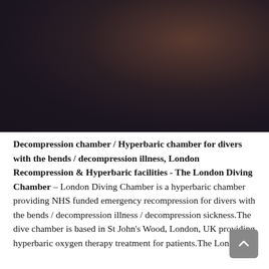[Figure (photo): Dark gradient hero image background — deep dark maroon/brown tones with a lighter brownish area in the upper right corner, fading to near-black elsewhere.]
Decompression chamber / Hyperbaric chamber for divers with the bends / decompression illness, London Recompression & Hyperbaric facilities - The London Diving Chamber – London Diving Chamber is a hyperbaric chamber providing NHS funded emergency recompression for divers with the bends / decompression illness / decompression sickness.The dive chamber is based in St John's Wood, London, UK providing hyperbaric oxygen therapy treatment for patients.The London